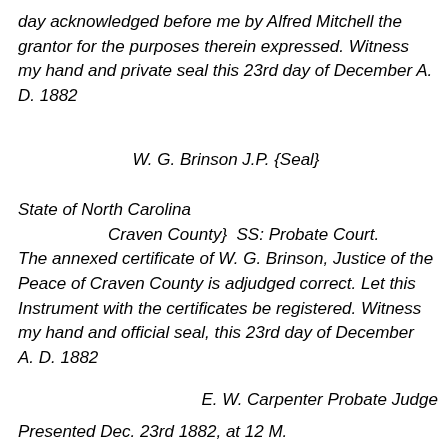day acknowledged before me by Alfred Mitchell the grantor for the purposes therein expressed. Witness my hand and private seal this 23rd day of December A. D. 1882
W. G. Brinson J.P. {Seal}
State of North Carolina
    Craven County}  SS: Probate Court.
The annexed certificate of W. G. Brinson, Justice of the Peace of Craven County is adjudged correct. Let this Instrument with the certificates be registered. Witness my hand and official seal, this 23rd day of December A. D. 1882
E. W. Carpenter Probate Judge
Presented Dec. 23rd 1882, at 12 M.